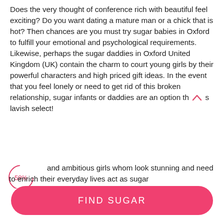Does the very thought of conference rich with beautiful feel exciting? Do you want dating a mature man or a chick that is hot? Then chances are you must try sugar babies in Oxford to fulfill your emotional and psychological requirements. Likewise, perhaps the sugar daddies in Oxford United Kingdom (UK) contain the charm to court young girls by their powerful characters and high priced gift ideas. In the event that you feel lonely or need to get rid of this broken relationship, sugar infants or daddies are an option th ^ s lavish select!
' 59% ) and ambitious girls whom look stunning and need to enrich their everyday lives act as sugar
FIND SUGAR